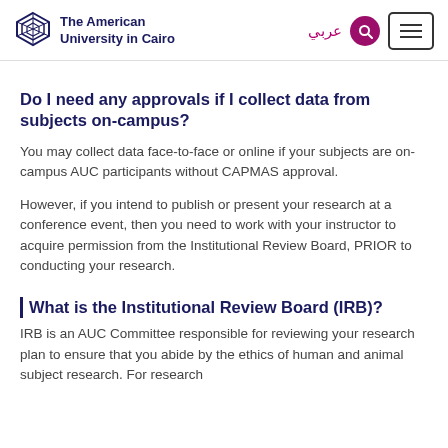The American University in Cairo
Do I need any approvals if I collect data from subjects on-campus?
You may collect data face-to-face or online if your subjects are on-campus AUC participants without CAPMAS approval.
However, if you intend to publish or present your research at a conference event, then you need to work with your instructor to acquire permission from the Institutional Review Board, PRIOR to conducting your research.
What is the Institutional Review Board (IRB)?
IRB is an AUC Committee responsible for reviewing your research plan to ensure that you abide by the ethics of human and animal subject research. For research